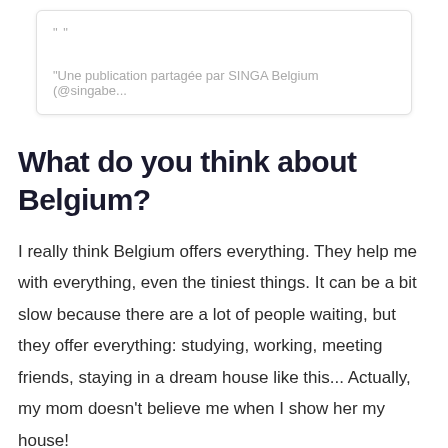[Figure (screenshot): A social media post card with quotation marks and a caption reading: "Une publication partagée par SINGA Belgium (@singabe..."]
What do you think about Belgium?
I really think Belgium offers everything. They help me with everything, even the tiniest things. It can be a bit slow because there are a lot of people waiting, but they offer everything: studying, working, meeting friends, staying in a dream house like this... Actually, my mom doesn't believe me when I show her my house!